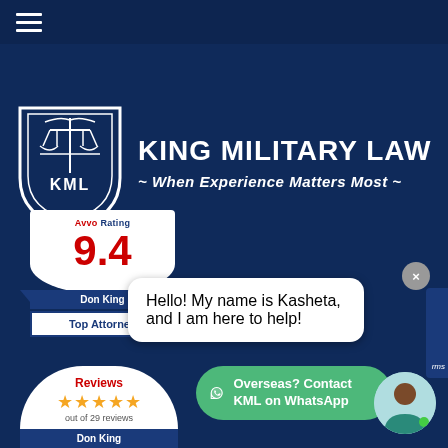[Figure (logo): King Military Law logo with shield containing scales of justice and KML text, with firm name and tagline]
KING MILITARY LAW
~ When Experience Matters Most ~
[Figure (infographic): Avvo Rating badge showing 9.4 score for Don King, Top Attorney]
Hello! My name is Kasheta, and I am here to help!
[Figure (infographic): Reviews badge showing 5 stars out of 29 reviews for Don King]
Overseas? Contact KML on WhatsApp